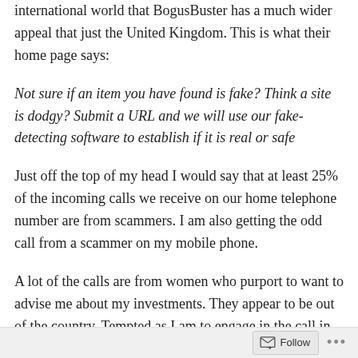international world that BogusBuster has a much wider appeal that just the United Kingdom. This is what their home page says:
Not sure if an item you have found is fake? Think a site is dodgy? Submit a URL and we will use our fake-detecting software to establish if it is real or safe
Just off the top of my head I would say that at least 25% of the incoming calls we receive on our home telephone number are from scammers. I am also getting the odd call from a scammer on my mobile phone.
A lot of the calls are from women who purport to want to advise me about my investments. They appear to be out of the country. Tempted as I am to engage in the call in an attempt to find out more about them I resist and promptly
Follow ...